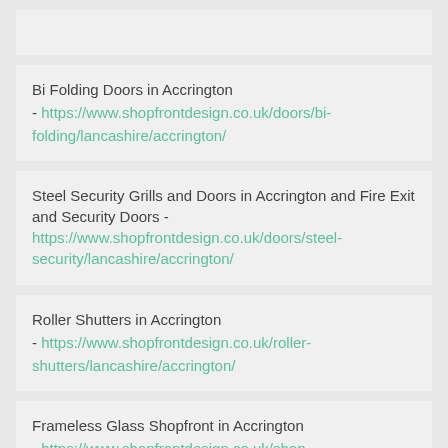Bi Folding Doors in Accrington - https://www.shopfrontdesign.co.uk/doors/bi-folding/lancashire/accrington/
Steel Security Grills and Doors in Accrington and Fire Exit and Security Doors - https://www.shopfrontdesign.co.uk/doors/steel-security/lancashire/accrington/
Roller Shutters in Accrington - https://www.shopfrontdesign.co.uk/roller-shutters/lancashire/accrington/
Frameless Glass Shopfront in Accrington - https://www.shopfrontdesign.co.uk/shop-fronts/frameless/lancashire/accrington/
Anodised Aluminium Shop Fronts in Accrington